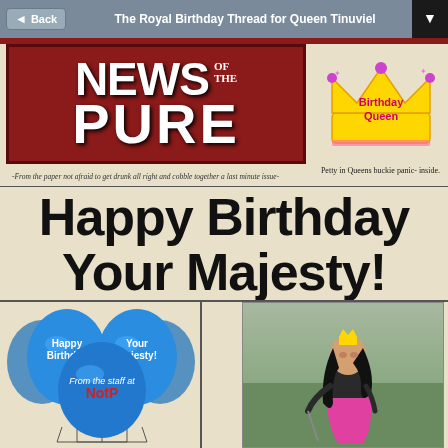The Royal Birthday Thread for Queen Tinuviel
[Figure (illustration): Newspaper front page mockup titled 'News of the Pure' with red masthead, Birthday Queen crown logo, blue balloons with 'Happy Birthday Your Majesty! From the staff at NotP', and a photo of a woman in golf attire with a crown.]
Happy Birthday Your Majesty!
-From the paper not afraid to get drunk all right and cobble together a last minute issue-
Petty in Queens buckie panic- inside.